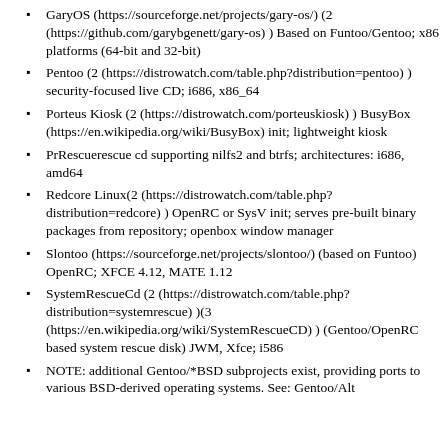GaryOS (https://sourceforge.net/projects/gary-os/) (2 (https://github.com/garybgenett/gary-os) ) Based on Funtoo/Gentoo; x86 platforms (64-bit and 32-bit)
Pentoo (2 (https://distrowatch.com/table.php?distribution=pentoo) ) security-focused live CD; i686, x86_64
Porteus Kiosk (2 (https://distrowatch.com/porteuskiosk) ) BusyBox (https://en.wikipedia.org/wiki/BusyBox) init; lightweight kiosk
PrRescuerescue cd supporting nilfs2 and btrfs; architectures: i686, amd64
Redcore Linux(2 (https://distrowatch.com/table.php?distribution=redcore) ) OpenRC or SysV init; serves pre-built binary packages from repository; openbox window manager
Slontoo (https://sourceforge.net/projects/slontoo/) (based on Funtoo) OpenRC; XFCE 4.12, MATE 1.12
SystemRescueCd (2 (https://distrowatch.com/table.php?distribution=systemrescue) )(3 (https://en.wikipedia.org/wiki/SystemRescueCD) ) (Gentoo/OpenRC based system rescue disk) JWM, Xfce; i586
NOTE: additional Gentoo/*BSD subprojects exist, providing ports to various BSD-derived operating systems. See: Gentoo/Alt